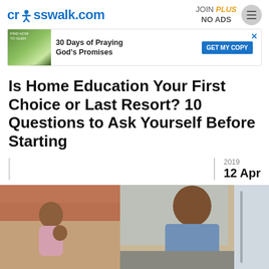crosswalk.com | JOIN PLUS NO ADS
[Figure (infographic): Advertisement banner: 30 Days of Praying God's Promises with GET MY COPY button]
Is Home Education Your First Choice or Last Resort? 10 Questions to Ask Yourself Before Starting
2019
12 Apr
[Figure (photo): A Black man in a blue t-shirt leaning over a kitchen counter, with a woman and child in the background in a kitchen setting.]